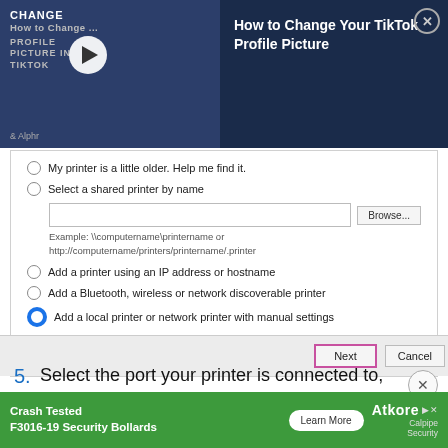[Figure (screenshot): Video banner for 'How to Change Your TikTok Profile Picture' showing a video thumbnail with play button and the Alphr logo, along with a close button]
[Figure (screenshot): Windows printer setup dialog showing radio button options: 'My printer is a little older. Help me find it.', 'Select a shared printer by name' (with text input and Browse button), 'Add a printer using an IP address or hostname', 'Add a Bluetooth, wireless or network discoverable printer', 'Add a local printer or network printer with manual settings' (selected). Footer has Next (highlighted in pink/magenta border) and Cancel buttons.]
5.  Select the port your printer is connected to,
then choose “Next.” Choose “USB” if it is
[Figure (screenshot): Advertisement banner: Crash Tested F3016-19 Security Bollards with Learn More button and Atkore Calpipe Security logo]